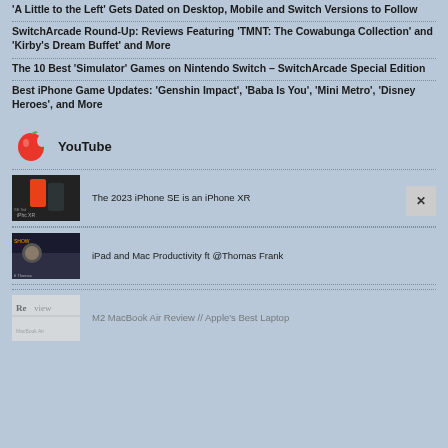'A Little to the Left' Gets Dated on Desktop, Mobile and Switch Versions to Follow
SwitchArcade Round-Up: Reviews Featuring 'TMNT: The Cowabunga Collection' and 'Kirby's Dream Buffet' and More
The 10 Best 'Simulator' Games on Nintendo Switch – SwitchArcade Special Edition
Best iPhone Game Updates: 'Genshin Impact', 'Baba Is You', 'Mini Metro', 'Disney Heroes', and More
YouTube
The 2023 iPhone SE is an iPhone XR
iPad and Mac Productivity ft @Thomas Frank
M2 MacBook Air Review // Apple's Best Laptop